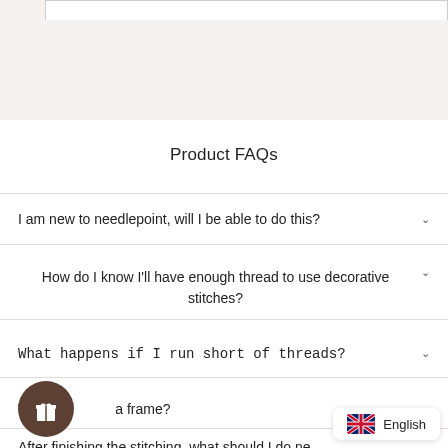Product FAQs
I am new to needlepoint, will I be able to do this?
How do I know I'll have enough thread to use decorative stitches?
What happens if I run short of threads?
Will [gift button obscuring] a frame?
After finishing the stitching, what should I do ne[xt?]
English